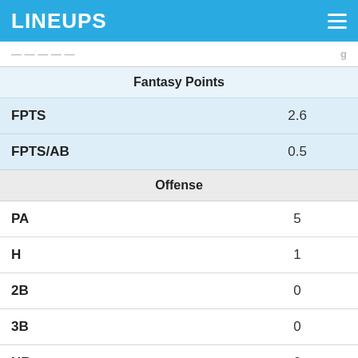LINEUPS
| Stat | Value |
| --- | --- |
| Fantasy Points |  |
| FPTS | 2.6 |
| FPTS/AB | 0.5 |
| Offense |  |
| PA | 5 |
| H | 1 |
| 2B | 0 |
| 3B | 0 |
| HR | 0 |
| R | 0 |
| RBI | 0 |
| SB | 0 |